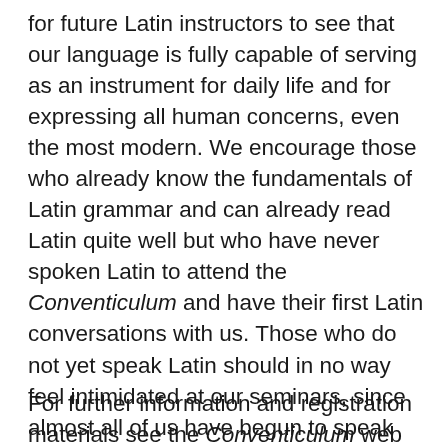for future Latin instructors to see that our language is fully capable of serving as an instrument for daily life and for expressing all human concerns, even the most modern. We encourage those who already know the fundamentals of Latin grammar and can already read Latin quite well but who have never spoken Latin to attend the Conventiculum and have their first Latin conversations with us. Those who do not yet speak Latin should in no way feel intimidated at our seminars, since almost all of us have begun to speak Latin relatively recently and thus we all understand perfectly well the difficulty of getting started. All those who would like to practice the general elements of conversational Latin are invited to arrive on June 30th and July 1st before the formal beginning of the seminar.
For further information and registration materials see the Conventiculum web site: